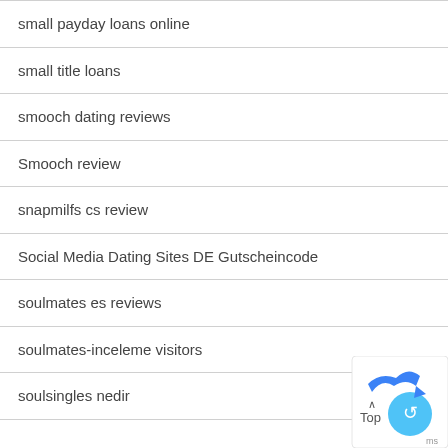small payday loans online
small title loans
smooch dating reviews
Smooch review
snapmilfs cs review
Social Media Dating Sites DE Gutscheincode
soulmates es reviews
soulmates-inceleme visitors
soulsingles nedir